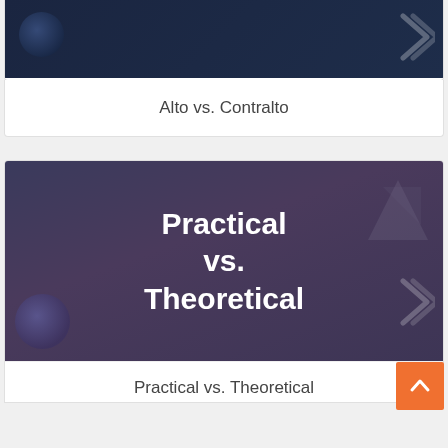[Figure (screenshot): Dark navy thumbnail image with decorative globe and chevron elements, partially visible at top of page]
Alto vs. Contralto
[Figure (screenshot): Dark purple/grey gradient thumbnail with bold white text reading 'Practical vs. Theoretical', decorative triangle top-right and circle bottom-left]
Practical vs. Theoretical